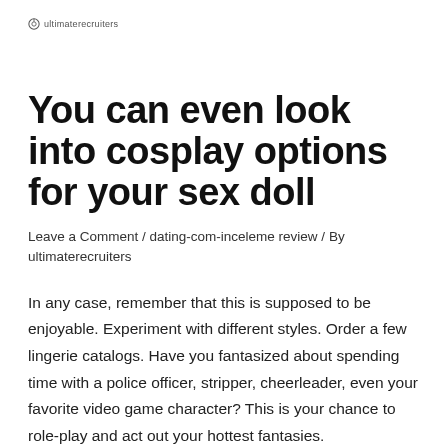ultimaterecruiters
You can even look into cosplay options for your sex doll
Leave a Comment / dating-com-inceleme review / By ultimaterecruiters
In any case, remember that this is supposed to be enjoyable. Experiment with different styles. Order a few lingerie catalogs. Have you fantasized about spending time with a police officer, stripper, cheerleader, even your favorite video game character? This is your chance to role-play and act out your hottest fantasies.